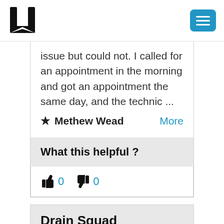[Figure (logo): U-shaped logo icon and hamburger menu button]
issue but could not. I called for an appointment in the morning and got an appointment the same day, and the technic ...
★ Methew Wead    More
What this helpful ?
👍 0   👎 0
Drain Squad